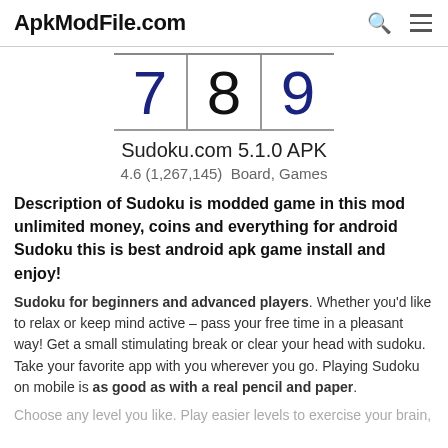ApkModFile.com
[Figure (illustration): Sudoku game number display showing 7, 8, 9 in a grid row with borders, styled as a sudoku board]
Sudoku.com 5.1.0 APK
4.6 (1,267,145)  Board, Games
Description of Sudoku is modded game in this mod unlimited money, coins and everything for android Sudoku this is best android apk game install and enjoy!
Sudoku for beginners and advanced players. Whether you'd like to relax or keep mind active – pass your free time in a pleasant way! Get a small stimulating break or clear your head with sudoku. Take your favorite app with you wherever you go. Playing Sudoku on mobile is as good as with a real pencil and paper.
Choose any level you like. Play easier levels to exercise your brain,